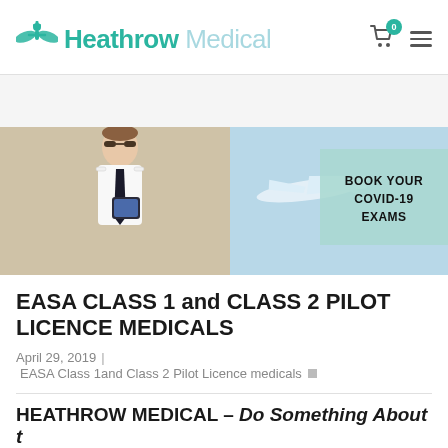Heathrow Medical
[Figure (photo): Banner photo of a male pilot in uniform with sunglasses holding a tablet in front of a private jet; second image shows an airplane in flight against blue sky. Overlay box reads: BOOK YOUR COVID-19 EXAMS]
EASA CLASS 1 and CLASS 2 PILOT LICENCE MEDICALS
April 29, 2019 | EASA Class 1and Class 2 Pilot Licence medicals
HEATHROW MEDICAL…